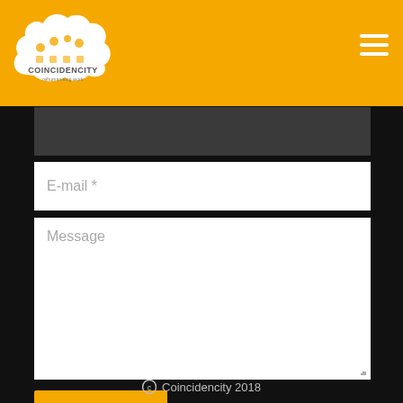Coincidencity - rehumanising work
E-mail *
Message
Submit
[Figure (logo): Coincidencity logo - cloud shape with icons, text reads COINCIDENCITY rehumanising work, white on orange/amber background]
© Coincidencity 2018